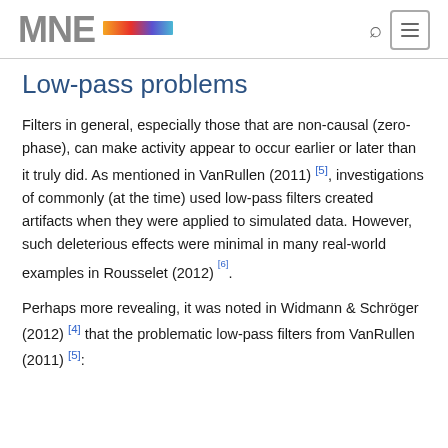MNE
Low-pass problems
Filters in general, especially those that are non-causal (zero-phase), can make activity appear to occur earlier or later than it truly did. As mentioned in VanRullen (2011) [5], investigations of commonly (at the time) used low-pass filters created artifacts when they were applied to simulated data. However, such deleterious effects were minimal in many real-world examples in Rousselet (2012) [6].
Perhaps more revealing, it was noted in Widmann & Schröger (2012) [4] that the problematic low-pass filters from VanRullen (2011) [5]: